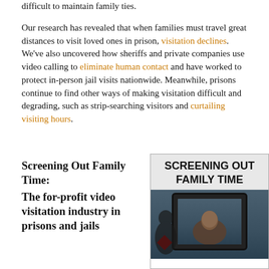difficult to maintain family ties. Our research has revealed that when families must travel great distances to visit loved ones in prison, visitation declines. We've also uncovered how sheriffs and private companies use video calling to eliminate human contact and have worked to protect in-person jail visits nationwide. Meanwhile, prisons continue to find other ways of making visitation difficult and degrading, such as strip-searching visitors and curtailing visiting hours.
Screening Out Family Time: The for-profit video visitation industry in prisons and jails
[Figure (photo): Book cover or report cover image reading 'SCREENING OUT FAMILY TIME' above a photo of a person's face on a tablet/video call screen]